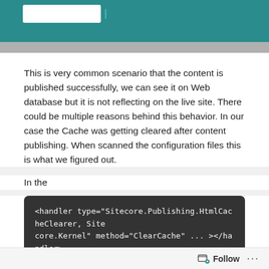[Figure (screenshot): Teal/green header image with partial white rectangle element visible]
This is very common scenario that the content is published successfully, we can see it on Web database but it is not reflecting on the live site. There could be multiple reasons behind this behavior. In our case the Cache was getting cleared after content publishing. When scanned the configuration files this is what we figured out.
In the
<handler type="Sitecore.Publishing.HtmlCacheClearer, Sitecore.Kernel" method="ClearCache" ... ></handler>
node (which is subscribed to the “publish:end” and